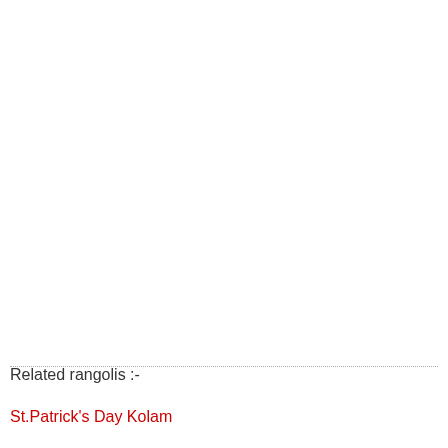Related rangolis :-
St.Patrick's Day Kolam